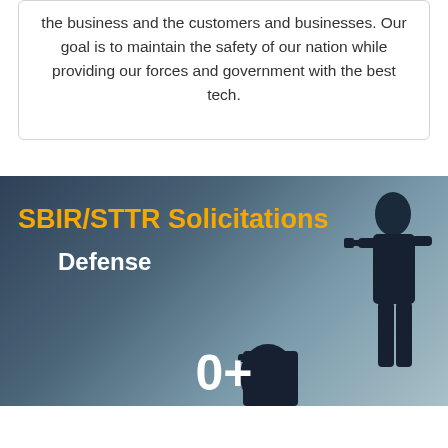the business and the customers and businesses. Our goal is to maintain the safety of our nation while providing our forces and government with the best tech.
SBIR/STTR Solicitations
Defense
0+